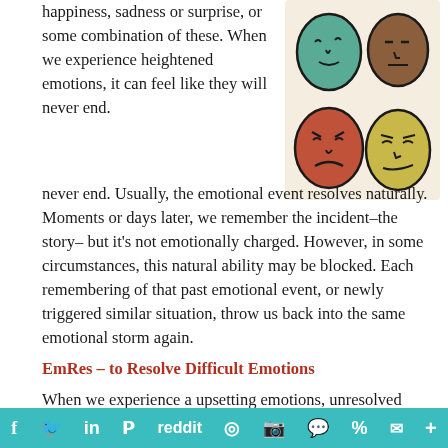happiness, sadness or surprise, or some combination of these. When we experience heightened emotions, it can feel like they will never end. Usually, the emotional event resolves naturally. Moments or days later, we remember the incident–the story– but it's not emotionally charged. However, in some circumstances, this natural ability may be blocked. Each remembering of that past emotional event, or newly triggered similar situation, throw us back into the same emotional storm again.
[Figure (illustration): Four illustrated cartoon faces showing different emotions — teal/green face at top left, brown face at top right, red/coral face at bottom left looking upset, yellow/olive face at bottom right with a slight smirk. Set against a light beige background.]
EmRes – to Resolve Difficult Emotions
When we experience a upsetting emotions, unresolved emotions from similar situations in the
f  Twitter  in  P  reddit  WhatsApp  Instagram  Messenger  %  email  More